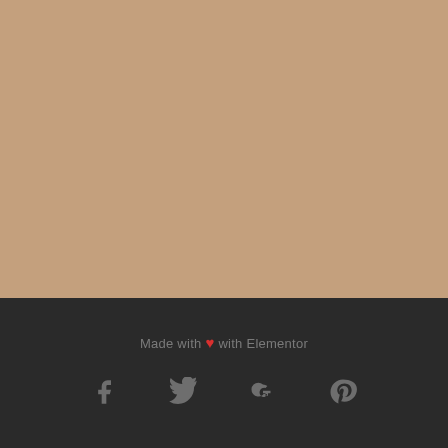[Figure (illustration): Large tan/beige colored rectangular block filling the top portion of the page]
Made with ❤ with Elementor
[Figure (infographic): Row of four social media icons: Facebook, Twitter, Google+, Pinterest — displayed in gray on dark background]